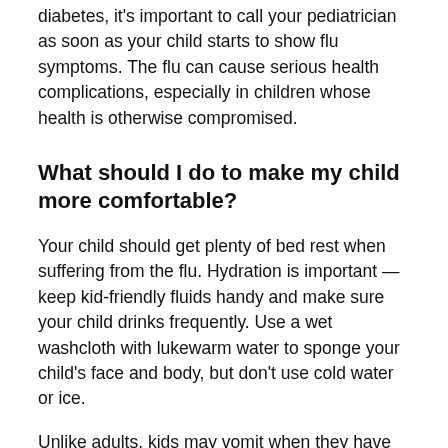diabetes, it's important to call your pediatrician as soon as your child starts to show flu symptoms. The flu can cause serious health complications, especially in children whose health is otherwise compromised.
What should I do to make my child more comfortable?
Your child should get plenty of bed rest when suffering from the flu. Hydration is important — keep kid-friendly fluids handy and make sure your child drinks frequently. Use a wet washcloth with lukewarm water to sponge your child's face and body, but don't use cold water or ice.
Unlike adults, kids may vomit when they have the flu, so watch for dehydration. If your baby has dry diapers or an older child isn't drinking well and seems listless, set up an appointment with our pediatrician to have your child